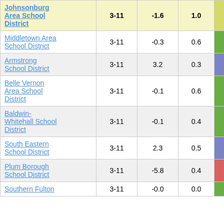| District | Grades | Col1 | Col2 | Score |
| --- | --- | --- | --- | --- |
| Johnsonburg Area School District | 3-11 | -1.6 | 1.0 | -1.64 |
| Middletown Area School District | 3-11 | -0.3 | 0.6 | -0.61 |
| Armstrong School District | 3-11 | 3.2 | 0.3 | 9.41 |
| Belle Vernon Area School District | 3-11 | -0.1 | 0.6 | -0.10 |
| Baldwin-Whitehall School District | 3-11 | -0.1 | 0.4 | -0.17 |
| South Eastern School District | 3-11 | 2.3 | 0.5 | 4.84 |
| Plum Borough School District | 3-11 | -5.8 | 0.4 | -13.65 |
| Southern Fulton | 3-11 | -0.0 | 0.0 | -0.03 |